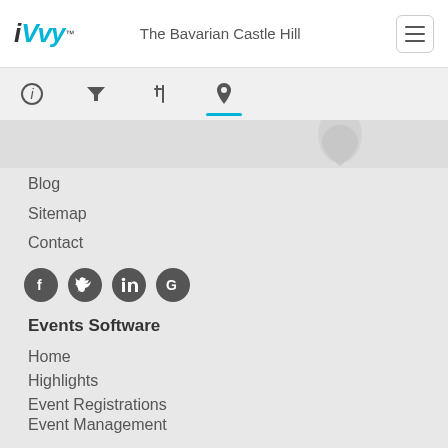iVvy — The Bavarian Castle Hill
Blog
Sitemap
Contact
[Figure (infographic): Social media icons: Facebook, Twitter, LinkedIn, Google]
Events Software
Home
Highlights
Event Registrations
Event Management
Marketing Tools
Security